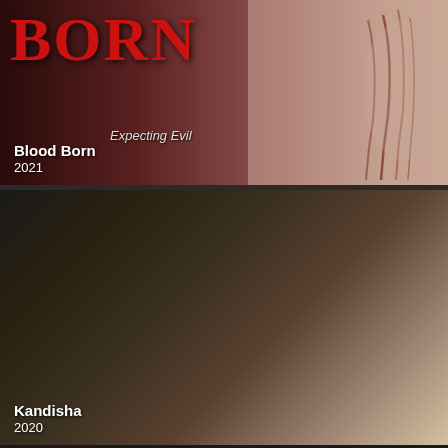[Figure (photo): Movie card for Blood Born (2021) — dark horror movie poster showing the word BORN in large red gothic letters, with the subtitle 'Expecting Evil' and scratch marks visible on a skin-toned background]
Blood Born
2021
[Figure (photo): Movie card for Kandisha (2020) — a horror movie still showing a young woman with blood on her face, arms raised, blonde curly hair, wearing a white t-shirt, in a dark dramatic setting]
Kandisha
2020
[Figure (photo): Movie card for a horror film featuring Michael Berryman, Taylor Compton, and Kane Hodder — showing stylized movie poster art with a figure with wings against a fiery orange-red background]